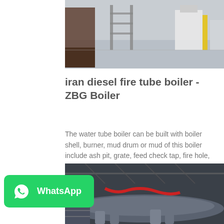[Figure (photo): Industrial facility interior showing ladders, equipment and concrete floor]
iran diesel fire tube boiler - ZBG Boiler
The water tube boiler can be built with boiler shell, burner, mud drum or mud of this boiler include ash pit, grate, feed check tap, fire hole, firebox, cross box, Water Tube Boilers | Spirax Sarco The cross drum...
[Figure (photo): Industrial boiler room with pipes and metal structure]
[Figure (logo): WhatsApp button with logo and text]